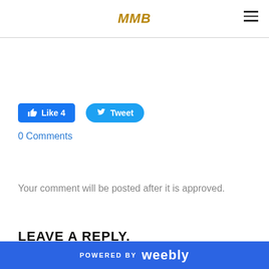MMB
[Figure (logo): MMB logo in gold italic font with hamburger menu icon on right]
[Figure (infographic): Social sharing buttons: Facebook Like 4 button (blue rectangle) and Tweet button (blue rounded)]
0 Comments
Your comment will be posted after it is approved.
LEAVE A REPLY.
POWERED BY weebly